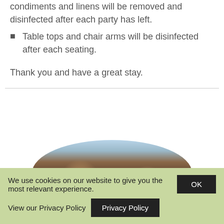Table tops and chair arms will be disinfected after each seating.
Thank you and have a great stay.
[Figure (photo): Group of people seated at a restaurant table, photo cropped in circular/oval shape]
We use cookies on our website to give you the most relevant experience.
OK
View our Privacy Policy
Privacy Policy